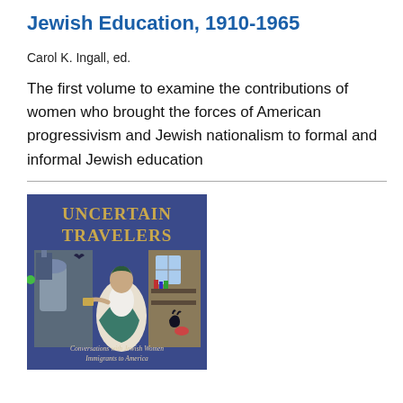Jewish Education, 1910-1965
Carol K. Ingall, ed.
The first volume to examine the contributions of women who brought the forces of American progressivism and Jewish nationalism to formal and informal Jewish education
[Figure (illustration): Book cover of 'Uncertain Travelers: Conversations with Jewish Women Immigrants to America', featuring a stylized illustration of a woman in classical dress standing in a doorway between an old world scene and a new world interior, with the title in gold text on a blue background.]